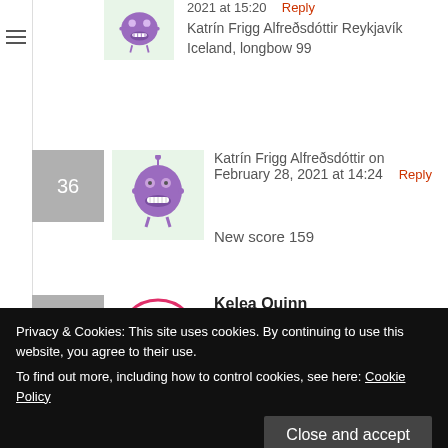2021 at 15:20   Reply
Katrín Frigg Alfreðsdóttir Reykjavík Iceland, longbow 99
36  Katrín Frigg Alfreðsdóttir on February 28, 2021 at 14:24   Reply
New score 159
37  Kelea Quinn on March 1, 2021 at 10:27
First day on new bow… and you make a new PB too 😶
Privacy & Cookies: This site uses cookies. By continuing to use this website, you agree to their use.
To find out more, including how to control cookies, see here: Cookie Policy
Close and accept
barebow 244